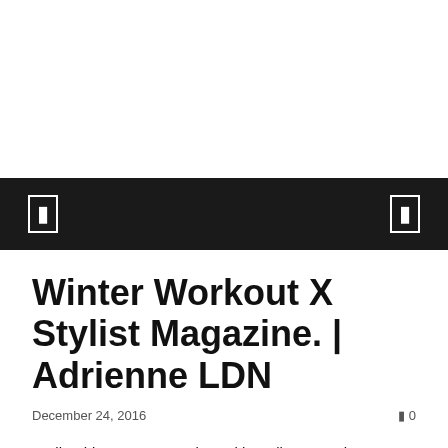Winter Workout X Stylist Magazine. | Adrienne LDN
December 24, 2016       0
Earlier this year I teamed up with Stylist magazine to share my top tips for winter training. It can be hard to motivate yourself when it's grey and cold outside, here's how I'm planning to keep on track.
1. Take Time For You – We all have mega busy lives. Don't let